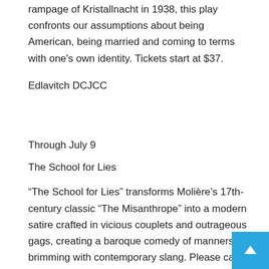rampage of Kristallnacht in 1938, this play confronts our assumptions about being American, being married and coming to terms with one's own identity. Tickets start at $37.
Edlavitch DCJCC
Through July 9
The School for Lies
“The School for Lies” transforms Molière’s 17th-century classic “The Misanthrope” into a modern satire crafted in vicious couplets and outrageous gags, creating a baroque comedy of manners brimming with contemporary slang. Please call for ticket information.